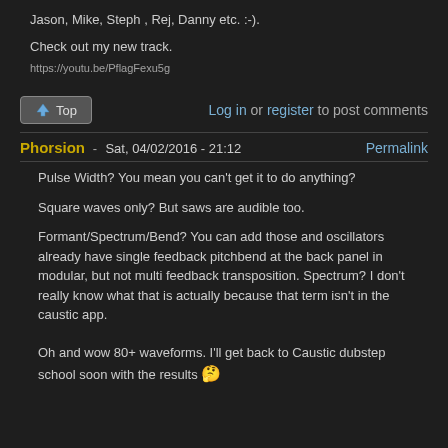Jason, Mike, Steph , Rej, Danny etc. :-).
Check out my new track.
https://youtu.be/PflagFexu5g
Top   Log in or register to post comments
Phorsion - Sat, 04/02/2016 - 21:12   Permalink
Pulse Width? You mean you can't get it to do anything?
Square waves only? But saws are audible too.
Formant/Spectrum/Bend? You can add those and oscillators already have single feedback pitchbend at the back panel in modular, but not multi feedback transposition. Spectrum? I don't really know what that is actually because that term isn't in the caustic app.
Oh and wow 80+ waveforms. I'll get back to Caustic dubstep school soon with the results 🤔